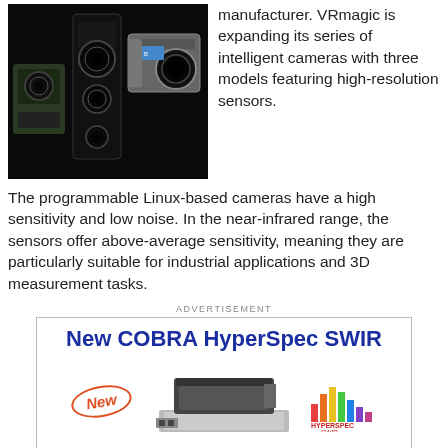[Figure (photo): Photo of multiple VRmagic intelligent camera models with high-resolution sensors on a dark background]
manufacturer. VRmagic is expanding its series of intelligent cameras with three models featuring high-resolution sensors.
The programmable Linux-based cameras have a high sensitivity and low noise. In the near-infrared range, the sensors offer above-average sensitivity, meaning they are particularly suitable for industrial applications and 3D measurement tasks.
ADVERTISEMENT
[Figure (illustration): Advertisement for New COBRA HyperSpec SWIR instrument, showing the device with a 'New' badge and HyperSpec SWIR logo]
The VRmDC-14 camera model is equipped with a 1/3-